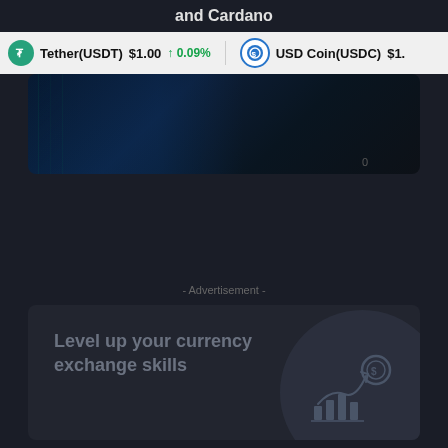and Cardano
Tether(USDT) $1.00 ↑ 0.09%
USD Coin(USDC) $1.
[Figure (screenshot): Dark digital background image with matrix-style blue glow and a '0' label visible]
- Advertisement -
[Figure (infographic): Dark advertisement card reading 'Level up your currency exchange skills' with a decorative circle and a chart/coin icon in the bottom right corner]